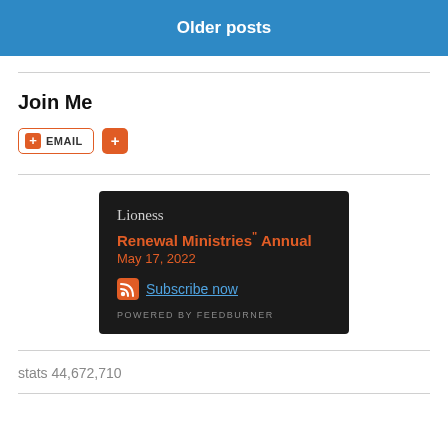Older posts
Join Me
[Figure (screenshot): FeedBurner subscription widget with dark background, showing 'Lioness' title, 'Renewal Ministries" Annual' post title in orange, 'May 17, 2022' date in orange, RSS subscribe now link in blue, and 'POWERED BY FEEDBURNER' footer text.]
stats 44,672,710